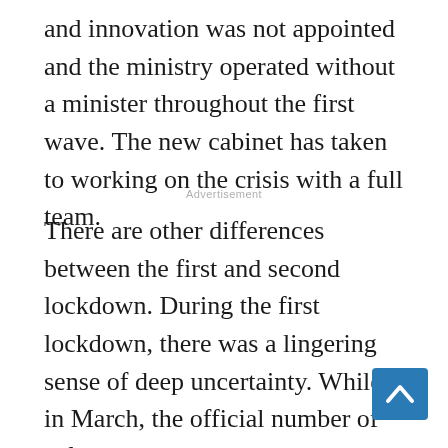and innovation was not appointed and the ministry operated without a minister throughout the first wave. The new cabinet has taken to working on the crisis with a full team.
Advertisement
There are other differences between the first and second lockdown. During the first lockdown, there was a lingering sense of deep uncertainty. While in March, the official number of infections in Lithuania was relatively low, severe restrictions on economic activity and people's movement were imposed in order to avoid the worst-case scenario in terms of public health. At the same time, a 5 billion euro economic stimulus package was announced. However, from the very first days of specific support measures being implemented, the